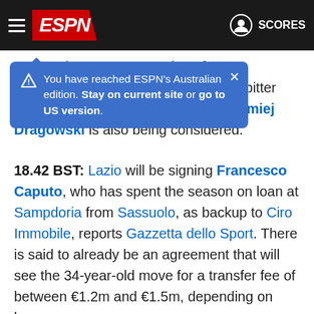ESPN – SCORES
[Figure (screenshot): Blue tooltip popup reading: You have reached ESPN's Australian edition. Stay on current site or go to US version.]
Bazunu is seen as an option after an impressive season on loan at Saints' bitter rivals Portsmouth. Fiorentina's Bartlomiej Dragowski is also being considered.
18.42 BST: Lazio will be signing Francesco Caputo, who has spent the season on loan at Sampdoria from Sassuolo, as backup to Ciro Immobile, reports Gazzetta dello Sport. There is said to already be an agreement that will see the 34-year-old move for a transfer fee of between €1.2m and €1.5m, depending on bonuses.
18.09 BST: Bild's Christian Falk reports that Chelsea are preparing a move for Barcelona winger Ousmane Dembele, who will be a free agent if his Camp Nou contract is not